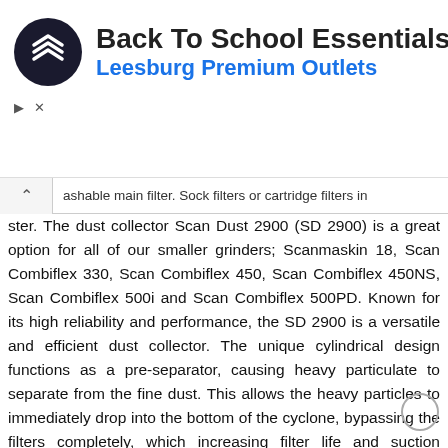[Figure (infographic): Advertisement banner for Back To School Essentials at Leesburg Premium Outlets, featuring a circular logo with arrows on the left, bold title text, blue subtitle, and a blue diamond navigation arrow icon on the right.]
ashable main filter. Sock filters or cartridge filters in ... ster. The dust collector Scan Dust 2900 (SD 2900) is a great option for all of our smaller grinders; Scanmaskin 18, Scan Combiflex 330, Scan Combiflex 450, Scan Combiflex 450NS, Scan Combiflex 500i and Scan Combiflex 500PD. Known for its high reliability and performance, the SD 2900 is a versatile and efficient dust collector. The unique cylindrical design functions as a pre-separator, causing heavy particulate to separate from the fine dust. This allows the heavy particles to immediately drop into the bottom of the cyclone, bypassing the filters completely, which increasing filter life and suction performance. The SD 2900 is equipped with Jet-Pulse, an efficient system that pulses the filters in order to keep them clean. The SD 2900 uses sock filters, which can easily be washed in order to prolong filter life. There is also a main filter option; a traditional cartridge filter that could be better when e.g. working on hardwood floors. The main